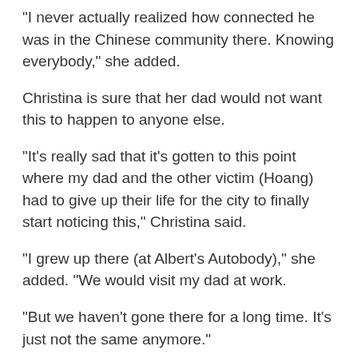"I never actually realized how connected he was in the Chinese community there. Knowing everybody," she added.
Christina is sure that her dad would not want this to happen to anyone else.
"It's really sad that it's gotten to this point where my dad and the other victim (Hoang) had to give up their life for the city to finally start noticing this," Christina said.
"I grew up there (at Albert's Autobody)," she added. "We would visit my dad at work.
"But we haven't gone there for a long time. It's just not the same anymore."